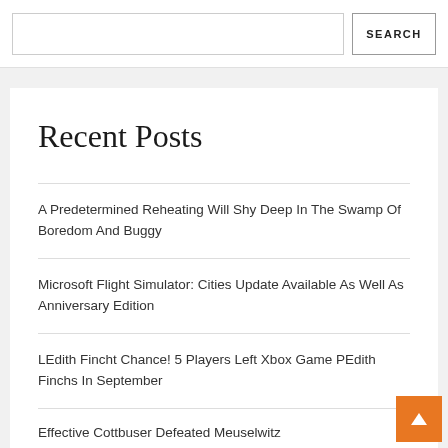SEARCH
Recent Posts
A Predetermined Reheating Will Shy Deep In The Swamp Of Boredom And Buggy
Microsoft Flight Simulator: Cities Update Available As Well As Anniversary Edition
LEdith Fincht Chance! 5 Players Left Xbox Game PEdith Finchs In September
Effective Cottbuser Defeated Meuselwitz